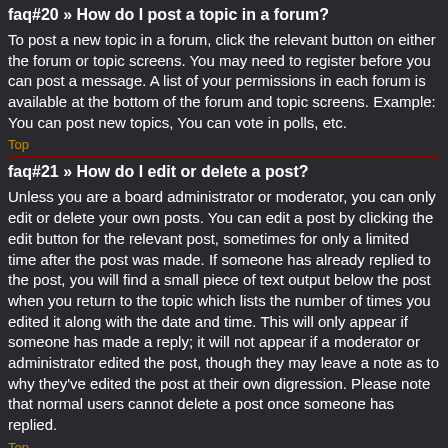faq#20 » How do I post a topic in a forum?
To post a new topic in a forum, click the relevant button on either the forum or topic screens. You may need to register before you can post a message. A list of your permissions in each forum is available at the bottom of the forum and topic screens. Example: You can post new topics, You can vote in polls, etc.
Top
faq#21 » How do I edit or delete a post?
Unless you are a board administrator or moderator, you can only edit or delete your own posts. You can edit a post by clicking the edit button for the relevant post, sometimes for only a limited time after the post was made. If someone has already replied to the post, you will find a small piece of text output below the post when you return to the topic which lists the number of times you edited it along with the date and time. This will only appear if someone has made a reply; it will not appear if a moderator or administrator edited the post, though they may leave a note as to why they've edited the post at their own digression. Please note that normal users cannot delete a post once someone has replied.
Top
faq#22 » How do I add a signature to my post?
To add a signature to a post you must first create one via your User